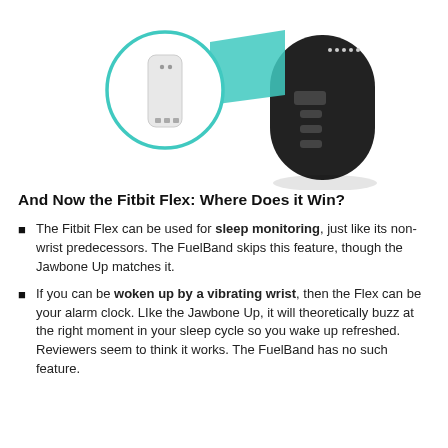[Figure (photo): Photo of a Fitbit Flex fitness tracker wristband in black, with a zoomed-in circle highlighting the small white tracker module removed from the band, connected by a teal/cyan colored zoom indicator shape.]
And Now the Fitbit Flex: Where Does it Win?
The Fitbit Flex can be used for sleep monitoring, just like its non-wrist predecessors. The FuelBand skips this feature, though the Jawbone Up matches it.
If you can be woken up by a vibrating wrist, then the Flex can be your alarm clock. LIke the Jawbone Up, it will theoretically buzz at the right moment in your sleep cycle so you wake up refreshed. Reviewers seem to think it works. The FuelBand has no such feature.